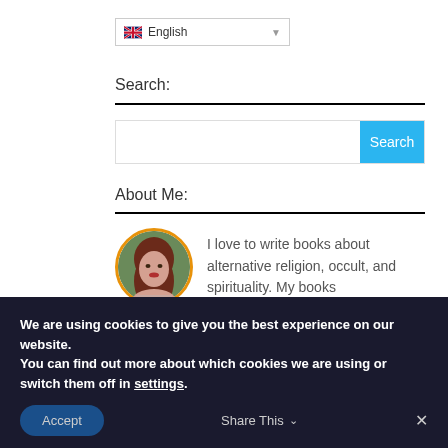[Figure (screenshot): Language selector dropdown showing UK flag and 'English' with a dropdown arrow]
Search:
[Figure (screenshot): Search input box with a blue 'Search' button on the right]
About Me:
[Figure (photo): Circular profile photo of a woman with red hair, orange border]
I love to write books about alternative religion, occult, and spirituality. My books
We are using cookies to give you the best experience on our website.
You can find out more about which cookies we are using or switch them off in settings.
Accept
Share This
✕